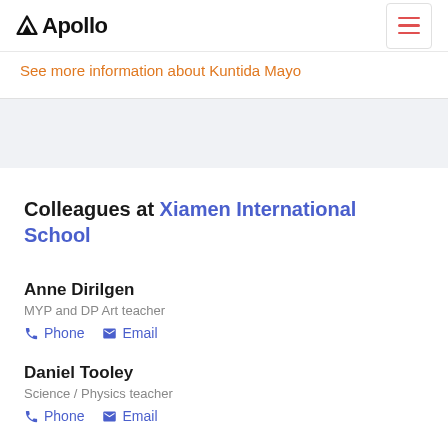Apollo
See more information about Kuntida Mayo
Colleagues at Xiamen International School
Anne Dirilgen
MYP and DP Art teacher
Phone  Email
Daniel Tooley
Science / Physics teacher
Phone  Email
Macara Oshida